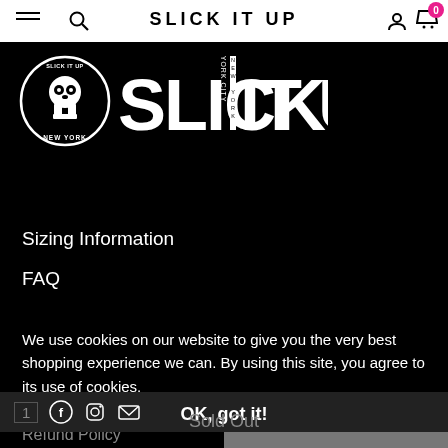SLICK IT UP
[Figure (logo): Slick It Up New York logo — circular emblem with a skull/face illustration and bold white text 'SLICK IT UP' on black background]
Sizing Information
FAQ
Shipping + Delivery
Contact
We use cookies on our website to give you the very best shopping experience we can. By using this site, you agree to its use of cookies.
OK, got it!
Sold Out
Refund Policy